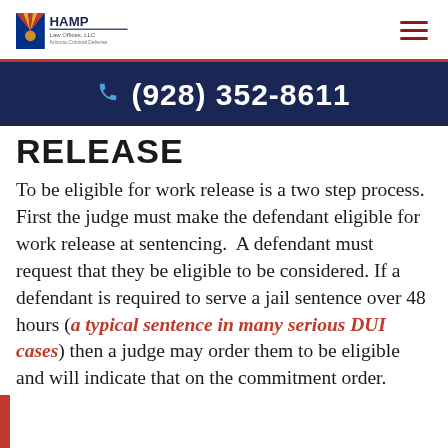HAMP Law Offices, LLC — Arizona Criminal Defense
(928) 352-8611
RELEASE
To be eligible for work release is a two step process.  First the judge must make the defendant eligible for work release at sentencing.  A defendant must request that they be eligible to be considered. If a defendant is required to serve a jail sentence over 48 hours (a typical sentence in many serious DUI cases) then a judge may order them to be eligible and will indicate that on the commitment order.